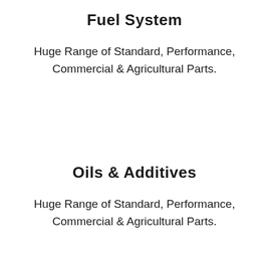Fuel System
Huge Range of Standard, Performance, Commercial & Agricultural Parts.
Oils & Additives
Huge Range of Standard, Performance, Commercial & Agricultural Parts.